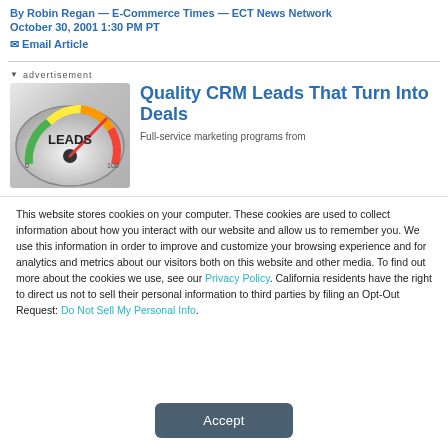By Robin Regan — E-Commerce Times — ECT News Network
October 30, 2001 1:30 PM PT
✉ Email Article
advertisement
[Figure (illustration): Speedometer/gauge image labeled LEADS with a red needle pointing high]
Quality CRM Leads That Turn Into Deals
Full-service marketing programs from...
This website stores cookies on your computer. These cookies are used to collect information about how you interact with our website and allow us to remember you. We use this information in order to improve and customize your browsing experience and for analytics and metrics about our visitors both on this website and other media. To find out more about the cookies we use, see our Privacy Policy. California residents have the right to direct us not to sell their personal information to third parties by filing an Opt-Out Request: Do Not Sell My Personal Info.